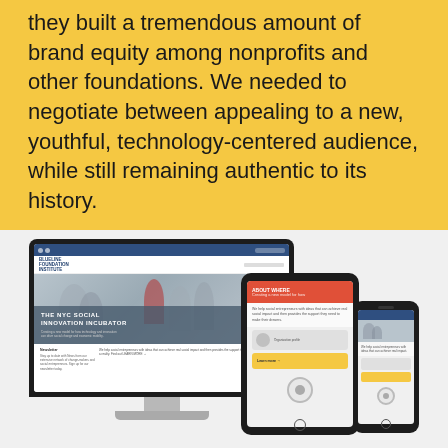they built a tremendous amount of brand equity among nonprofits and other foundations. We needed to negotiate between appealing to a new, youthful, technology-centered audience, while still remaining authentic to its history.
[Figure (screenshot): Three-device responsive design mockup showing a website displayed on a desktop monitor, tablet, and smartphone. The monitor shows a nonprofit website with a hero image of people and text reading 'THE NYC SOCIAL INNOVATION INCUBATOR'. The tablet shows a page with a red/coral header section. The phone shows a condensed mobile view of the same site.]